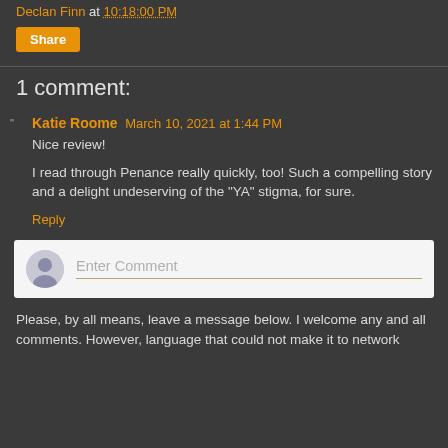Declan Finn at 10:18:00 PM
Share
1 comment:
Katie Roome  March 10, 2021 at 1:44 PM
Nice review!

I read through Penance really quickly, too! Such a compelling story and a delight undeserving of the "YA" stigma, for sure.
Reply
Enter Comment
Please, by all means, leave a message below. I welcome any and all comments. However, language that could not make it to network...